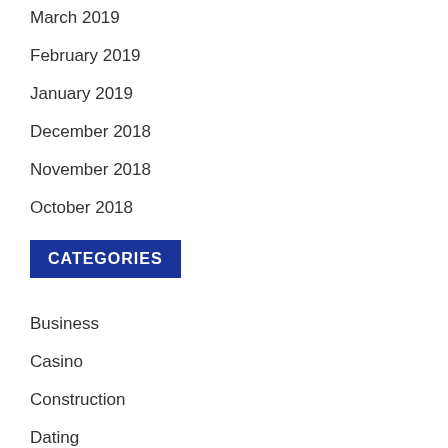March 2019
February 2019
January 2019
December 2018
November 2018
October 2018
CATEGORIES
Business
Casino
Construction
Dating